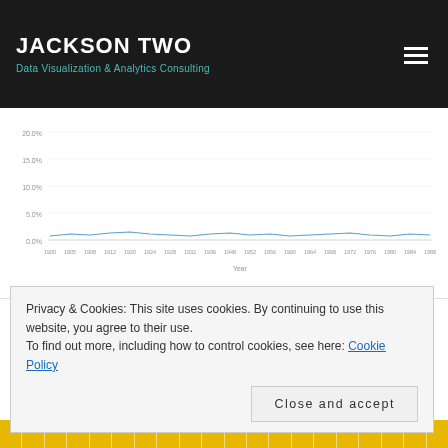JACKSON TWO
Data Visualization & Analytics Consulting
[Figure (continuous-plot): A line chart showing data over time (years on x-axis, percentage values on y-axis). The chart has a white background with a thin gray line trending across the time axis. Y-axis shows percentage values from approximately 0% to 20%. X-axis shows years. The chart appears to show minimal variation with data concentrated near the bottom.]
So – now the story is unfolding, but I wanted to take it a few steps further.  My main beef: I want to also see how many additional delegations are bringing athletes to the games.  Specifically at the first data point I'd think that it was a small number of countries because the game were new. Essentially the opportunity for medalling would perhaps be greater. Hence settling on what ended up being my final
Privacy & Cookies: This site uses cookies. By continuing to use this website, you agree to their use.
To find out more, including how to control cookies, see here: Cookie Policy
Close and accept